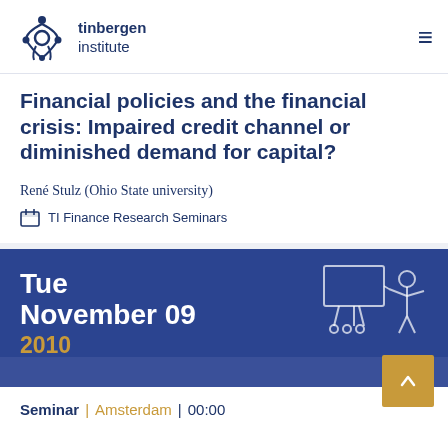tinbergen institute
Financial policies and the financial crisis: Impaired credit channel or diminished demand for capital?
René Stulz (Ohio State university)
TI Finance Research Seminars
Tue November 09 2010
Seminar | Amsterdam | 00:00